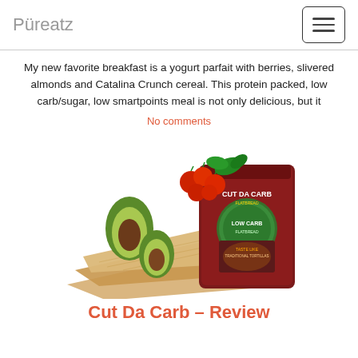Püreatz
My new favorite breakfast is a yogurt parfait with berries, slivered almonds and Catalina Crunch cereal. This protein packed, low carb/sugar, low smartpoints meal is not only delicious, but it
No comments
[Figure (photo): Product photo showing Cut Da Carb flatbread package (dark red packaging with green circle logo) alongside avocado halves, cherry tomatoes, fresh basil, and stacked flatbread sheets on a white background]
Cut Da Carb – Review